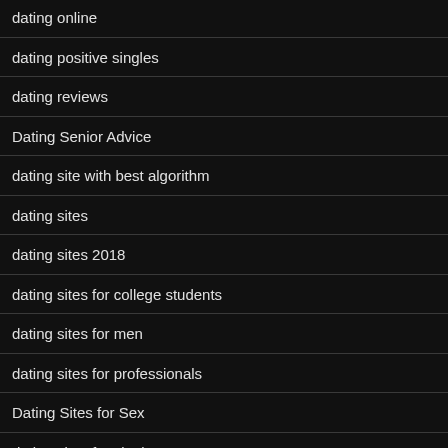dating online
dating positive singles
dating reviews
Dating Senior Advice
dating site with best algorithm
dating sites
dating sites 2018
dating sites for college students
dating sites for men
dating sites for professionals
Dating Sites for Sex
dating sites for singles
dating sites online